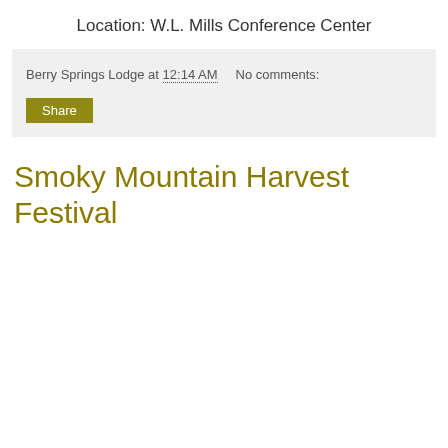Location: W.L. Mills Conference Center
Berry Springs Lodge at 12:14 AM    No comments:
Share
Smoky Mountain Harvest Festival